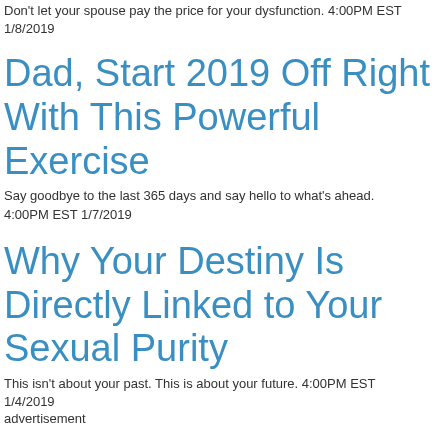Don't let your spouse pay the price for your dysfunction. 4:00PM EST 1/8/2019
Dad, Start 2019 Off Right With This Powerful Exercise
Say goodbye to the last 365 days and say hello to what's ahead. 4:00PM EST 1/7/2019
Why Your Destiny Is Directly Linked to Your Sexual Purity
This isn't about your past. This is about your future. 4:00PM EST 1/4/2019
advertisement